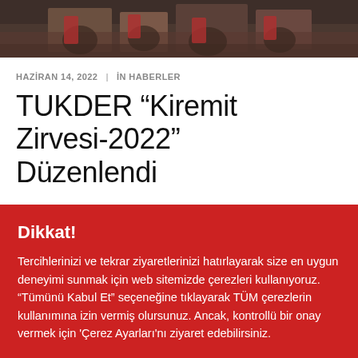[Figure (photo): Photograph of people at an event, partially visible at the top of the page]
HAZİRAN 14, 2022   İN HABERLER
TUKDER “Kiremit Zirvesi-2022” Düzenlendi
Dikkat!
Tercihlerinizi ve tekrar ziyaretlerinizi hatırlayarak size en uygun deneyimi sunmak için web sitemizde çerezleri kullanıyoruz. “Tümünü Kabul Et” seçeneğine tıklayarak TÜM çerezlerin kullanımına izin vermiş olursunuz. Ancak, kontrollü bir onay vermek için 'Çerez Ayarları'nı ziyaret edebilirsiniz.
Çerez Ayarları
Tümünü Kabul Et